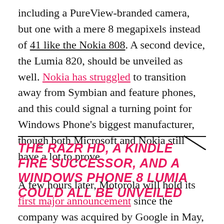including a PureView-branded camera, but one with a mere 8 megapixels instead of 41 like the Nokia 808. A second device, the Lumia 820, should be unveiled as well. Nokia has struggled to transition away from Symbian and feature phones, and this could signal a turning point for Windows Phone's biggest manufacturer, though both Microsoft and Nokia still have a lot to prove.
THE RAZR HD, A KINDLE FIRE SUCCESSOR, AND A WINDOWS PHONE 8 LUMIA COULD ALL BE UNVEILED
A few hours later, Motorola will hold its first major announcement since the company was acquired by Google in May, making the bold promise that it will be "the day's main event." It's expected, however, to